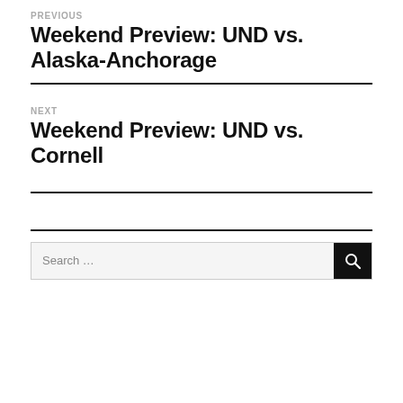PREVIOUS
Weekend Preview: UND vs. Alaska-Anchorage
NEXT
Weekend Preview: UND vs. Cornell